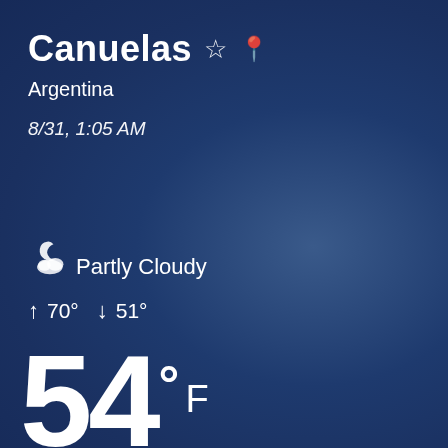Canuelas ☆ 📍
Argentina
8/31, 1:05 AM
[Figure (illustration): Partly cloudy night weather icon with cloud and moon]
Partly Cloudy
↑ 70° ↓ 51°
54° F